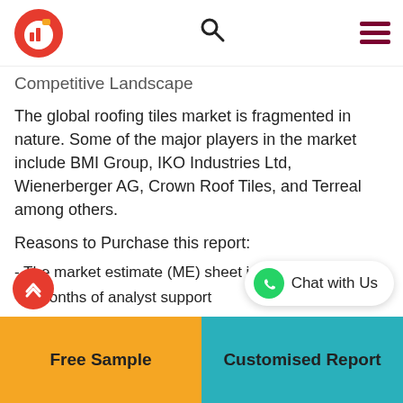Competitive Landscape
The global roofing tiles market is fragmented in nature. Some of the major players in the market include BMI Group, IKO Industries Ltd, Wienerberger AG, Crown Roof Tiles, and Terreal among others.
Reasons to Purchase this report:
- The market estimate (ME) sheet in Excel format
- 3 months of analyst support